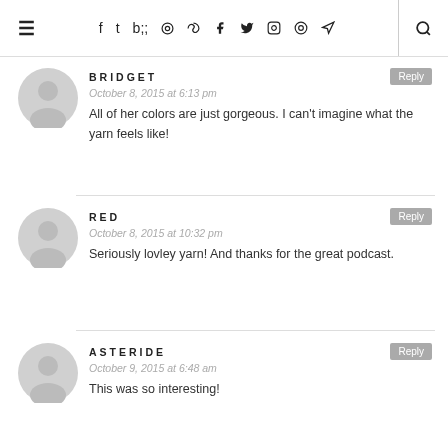≡  f  ✦  ◉  ⊕  )))  🔍
BRIDGET
October 8, 2015 at 6:13 pm
All of her colors are just gorgeous. I can't imagine what the yarn feels like!
RED
October 8, 2015 at 10:32 pm
Seriously lovley yarn! And thanks for the great podcast.
ASTERIDE
October 9, 2015 at 6:48 am
This was so interesting!